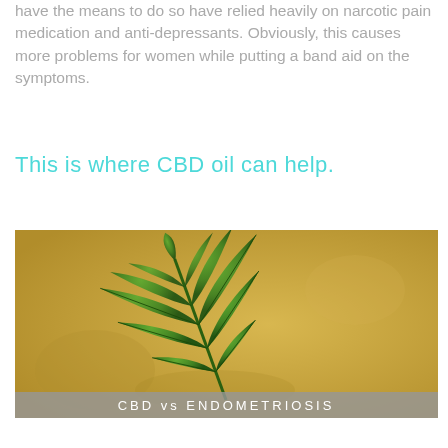have the means to do so have relied heavily on narcotic pain medication and anti-depressants. Obviously, this causes more problems for women while putting a band aid on the symptoms.
This is where CBD oil can help.
[Figure (photo): A cannabis leaf on a golden/yellow-brown textured background, with a caption bar at the bottom reading 'CBD vs ENDOMETRIOSIS']
CBD vs ENDOMETRIOSIS